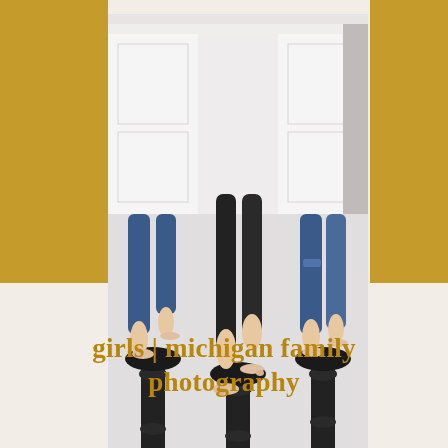[Figure (photo): Three people (girls) sitting on ornate black bar stools in a bright white kitchen setting, barefoot, wearing casual clothes including jeans and black pants. The photo is cropped to show from the waist down. Gold/mustard colored rectangular accents appear behind the photo on the left and right sides.]
girls | michigan family photography